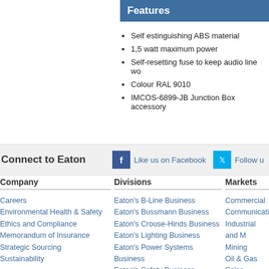Features
Self estinguishing ABS material
1,5 watt maximum power
Self-resetting fuse to keep audio line wo
Colour RAL 9010
IMCOS-6899-JB Junction Box accessory
Connect to Eaton   Like us on Facebook   Follow u
Company
Careers
Environmental Health & Safety
Ethics and Compliance
Memorandum of Insurance
Strategic Sourcing
Sustainability
Divisions
Eaton's B-Line Business
Eaton's Bussmann Business
Eaton's Crouse-Hinds Business
Eaton's Lighting Business
Eaton's Power Systems Business
Eaton's Safety Business
Eaton's Wiring Devices Business
Markets
Commercial
Communications
Industrial and M
Mining
Oil & Gas
Solar
Utility